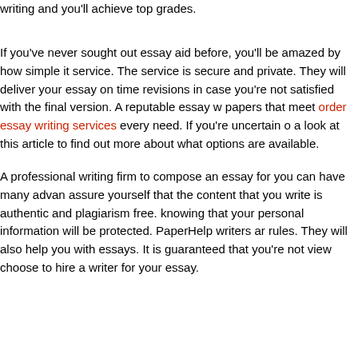writing and you'll achieve top grades.
If you've never sought out essay aid before, you'll be amazed by how simple it service. The service is secure and private. They will deliver your essay on time revisions in case you're not satisfied with the final version. A reputable essay w papers that meet order essay writing services every need. If you're uncertain o a look at this article to find out more about what options are available.
A professional writing firm to compose an essay for you can have many advan assure yourself that the content that you write is authentic and plagiarism free. knowing that your personal information will be protected. PaperHelp writers ar rules. They will also help you with essays. It is guaranteed that you're not view choose to hire a writer for your essay.